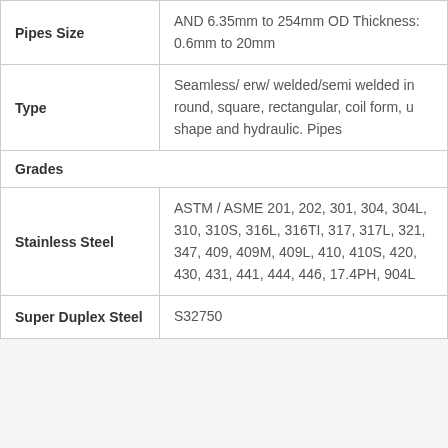| Property | Details |
| --- | --- |
| Pipes Size | AND 6.35mm to 254mm OD Thickness: 0.6mm to 20mm |
| Type | Seamless/ erw/ welded/semi welded in round, square, rectangular, coil form, u shape and hydraulic. Pipes |
| Grades |  |
| Stainless Steel | ASTM / ASME 201, 202, 301, 304, 304L, 310, 310S, 316L, 316TI, 317, 317L, 321, 347, 409, 409M, 409L, 410, 410S, 420, 430, 431, 441, 444, 446, 17.4PH, 904L |
| Super Duplex Steel | S32750 |